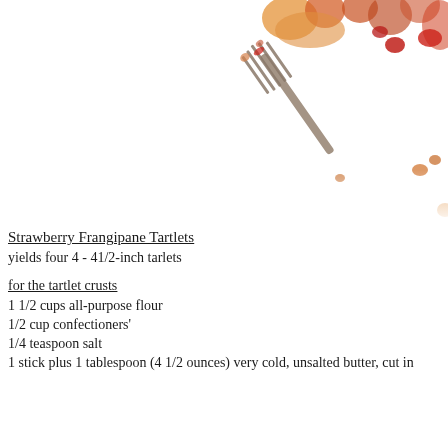[Figure (photo): Overhead photo of a fork with food remnants — strawberry tartlet crumbs and red fruit pieces — on a white background, positioned in the upper right area of the page.]
Strawberry Frangipane Tartlets
yields four 4 - 41/2-inch tarlets
for the tartlet crusts
1 1/2 cups all-purpose flour
1/2 cup confectioners'
1/4 teaspoon salt
1 stick plus 1 tablespoon (4 1/2 ounces) very cold, unsalted butter, cut in